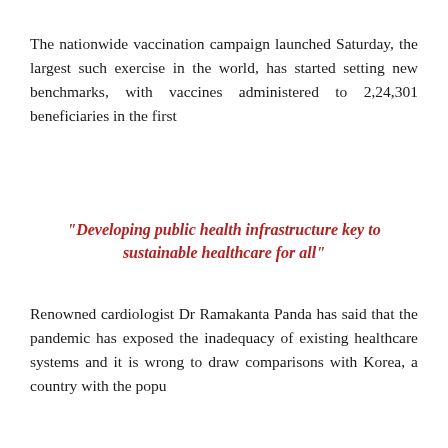The nationwide vaccination campaign launched Saturday, the largest such exercise in the world, has started setting new benchmarks, with vaccines administered to 2,24,301 beneficiaries in the first
“Developing public health infrastructure key to sustainable healthcare for all”
Renowned cardiologist Dr Ramakanta Panda has said that the pandemic has exposed the inadequacy of existing healthcare systems and it is wrong to draw comparisons with Korea, a country with the popu